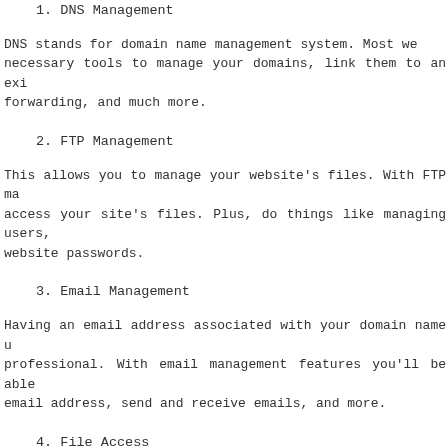1. DNS Management
DNS stands for domain name management system. Most we- necessary tools to manage your domains, link them to an exi- forwarding, and much more.
2. FTP Management
This allows you to manage your website's files. With FTP ma- access your site's files. Plus, do things like managing users, website passwords.
3. Email Management
Having an email address associated with your domain name u- professional. With email management features you'll be able email address, send and receive emails, and more.
4. File Access
With web-based file access, you'll be able to edit, delete, a- associated with your website. This is much easier than loggi- offline software using your IP address.